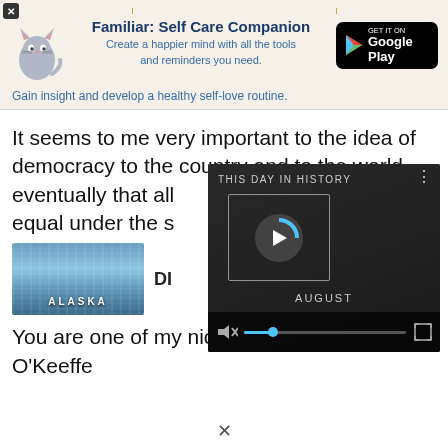[Figure (screenshot): Ad banner for 'Familiar: Self Care Companion' app with cat illustration, tagline, and Google Play badge]
It seems to me very important to the idea of democracy to the country and to the world eventually that all people are created equal under the sky
[Figure (screenshot): Alaska glacier thumbnail image with 'ALASKA' text label and partial 'DI' text beside it]
[Figure (screenshot): Overlay video player showing 'THIS DAY IN HISTORY' with AUGUST label, play button, mute icon and progress bar]
You are one of my nicest thoughts. – Georgia O'Keeffe